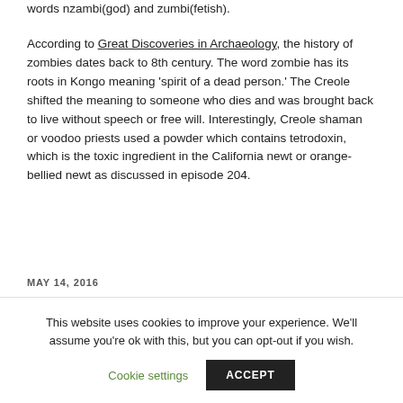words nzambi(god) and zumbi(fetish).
According to Great Discoveries in Archaeology, the history of zombies dates back to 8th century. The word zombie has its roots in Kongo meaning 'spirit of a dead person.' The Creole shifted the meaning to someone who dies and was brought back to live without speech or free will. Interestingly, Creole shaman or voodoo priests used a powder which contains tetrodoxin, which is the toxic ingredient in the California newt or orange-bellied newt as discussed in episode 204.
MAY 14, 2016
This website uses cookies to improve your experience. We'll assume you're ok with this, but you can opt-out if you wish.